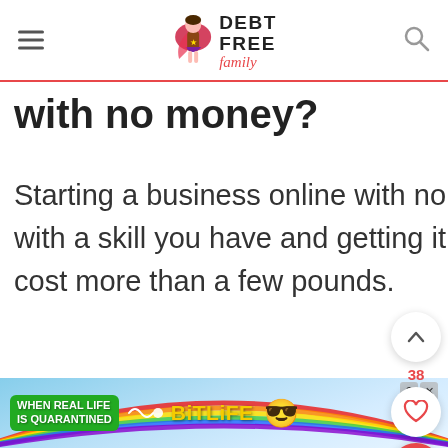DEBT FREE family
with no money?
Starting a business online with no money simply means coming up with a skill you have and getting it to an audience. Th doesn't have to cost more than a few pounds.
[Figure (screenshot): BitLife ad banner with rainbow and promotional text 'WHEN REAL LIFE IS QUARANTINED']